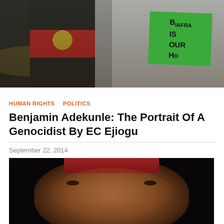[Figure (photo): Protest photo showing people holding Biafra flags and a green sign reading 'BIAFRA IS OUR HO[ME]']
HUMAN RIGHTS  POLITICS
Benjamin Adekunle: The Portrait Of A Genocidist By EC Ejiogu
September 22, 2014
[Figure (photo): Close-up portrait photograph of a man wearing a red hat, dark background]